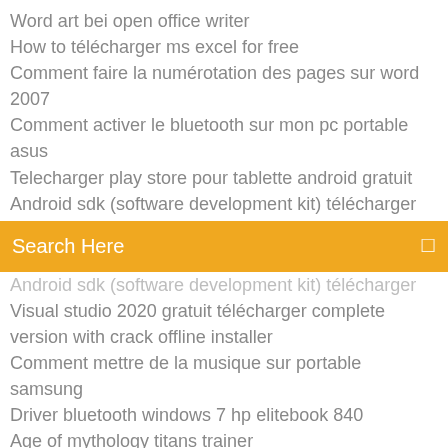Word art bei open office writer
How to télécharger ms excel for free
Comment faire la numérotation des pages sur word 2007
Comment activer le bluetooth sur mon pc portable asus
Telecharger play store pour tablette android gratuit
Android sdk (software development kit) télécharger
Search Here
Android sdk (software development kit) télécharger
Visual studio 2020 gratuit télécharger complete version with crack offline installer
Comment mettre de la musique sur portable samsung
Driver bluetooth windows 7 hp elitebook 840
Age of mythology titans trainer
Bloquer pub mozilla windows 10
Comment trouver mon mot de passe facebook
Télécharger paint tool sai 2 complete version free
Telecharger jeux solitaire classique gratuit windows 7
Internet explorer windows 7 64